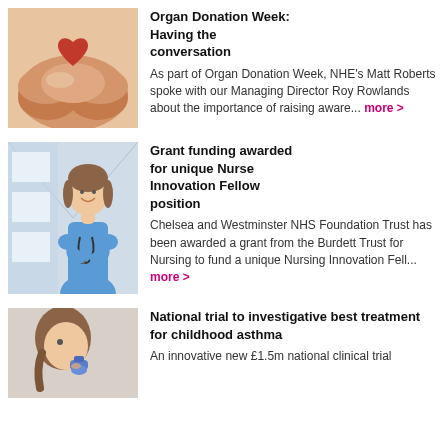[Figure (photo): Two hands cupping a red heart shape, representing organ donation]
Organ Donation Week: Having the conversation
As part of Organ Donation Week, NHE's Matt Roberts spoke with our Managing Director Roy Rowlands about the importance of raising aware... more >
[Figure (photo): A smiling female nurse in blue scrubs with a stethoscope, arms crossed, in a hospital corridor]
Grant funding awarded for unique Nurse Innovation Fellow position
Chelsea and Westminster NHS Foundation Trust has been awarded a grant from the Burdett Trust for Nursing to fund a unique Nursing Innovation Fell... more >
[Figure (photo): A young girl with braids using an inhaler, representing childhood asthma]
National trial to investigative best treatment for childhood asthma
An innovative new £1.5m national clinical trial